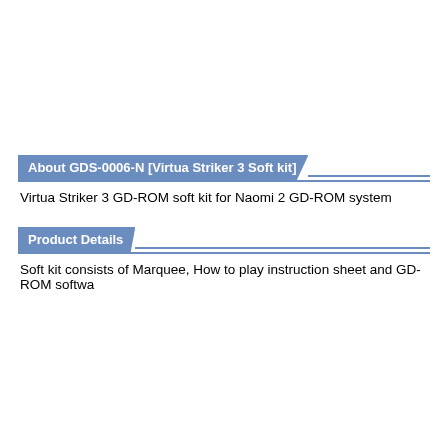About GDS-0006-N [Virtua Striker 3 Soft kit]
Virtua Striker 3 GD-ROM soft kit for Naomi 2 GD-ROM system
Product Details
Soft kit consists of Marquee, How to play instruction sheet and GD-ROM softwa